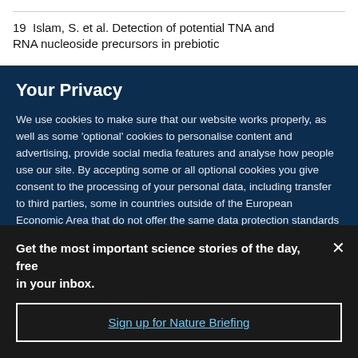19  Islam, S. et al. Detection of potential TNA and RNA nucleoside precursors in prebiotic
Your Privacy
We use cookies to make sure that our website works properly, as well as some ‘optional’ cookies to personalise content and advertising, provide social media features and analyse how people use our site. By accepting some or all optional cookies you give consent to the processing of your personal data, including transfer to third parties, some in countries outside of the European Economic Area that do not offer the same data protection standards as the country where you live. You can decide which optional cookies to accept by clicking on ‘Manage Settings’, where you can
Get the most important science stories of the day, free in your inbox.
Sign up for Nature Briefing